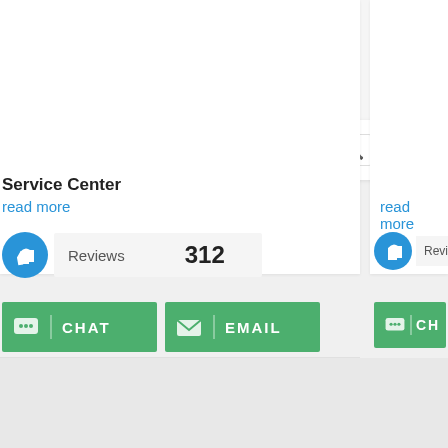[Figure (logo): PrestoExperts logo with owl/glasses icon, 'By LivePerson' tagline below]
Browse by Category
Search for Experts or Tutors...
Sign In
Register
Service Center
read more
read more
Reviews  312
Revie...
CHAT
EMAIL
CH...